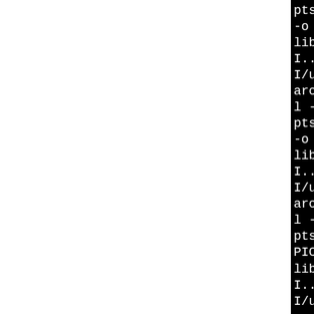pts -MT rpmal-py.lo -MD -M
-o .libs/rpmal-py.o
libtool: compile: athlon-p
I../build -I../lib -I../rp
I/usr/include/python2.4 -I
arch=athlon -fno-strict-al
l -Wpointer-arith -Wstrict
pts -MT rpmds-py.lo -MD -M
-o .libs/rpmds-py.o
libtool: compile: athlon-p
I../build -I../lib -I../rp
I/usr/include/python2.4 -I
arch=athlon -fno-strict-al
l -Wpointer-arith -Wstrict
pts -MT header-py.lo -MD -
PIC -o .libs/header-py.o
libtool: compile: athlon-p
I../build -I../lib -I../rp
I/usr/include/python2.4 -I
arch=athlon -fno-strict-al
l -Wpointer-arith -Wstrict
pts -MT rpmal-py.lo -MD -M
y.o >/dev/null 2>&1
rpmmodule.c: In function